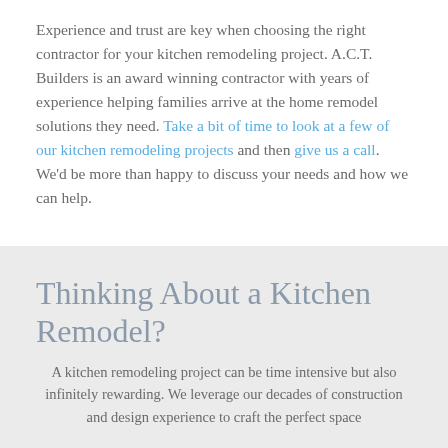Experience and trust are key when choosing the right contractor for your kitchen remodeling project. A.C.T. Builders is an award winning contractor with years of experience helping families arrive at the home remodel solutions they need. Take a bit of time to look at a few of our kitchen remodeling projects and then give us a call. We'd be more than happy to discuss your needs and how we can help.
Thinking About a Kitchen Remodel?
A kitchen remodeling project can be time intensive but also infinitely rewarding. We leverage our decades of construction and design experience to craft the perfect space